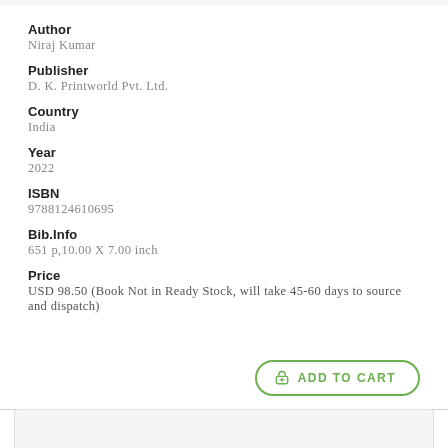Author
Niraj Kumar
Publisher
D. K. Printworld Pvt. Ltd.
Country
India
Year
2022
ISBN
9788124610695
Bib.Info
651 p,10.00 X 7.00 inch
Price
USD 98.50 (Book Not in Ready Stock, will take 45-60 days to source and dispatch)